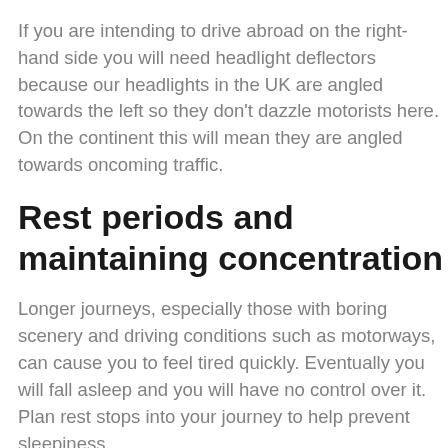If you are intending to drive abroad on the right-hand side you will need headlight deflectors because our headlights in the UK are angled towards the left so they don't dazzle motorists here. On the continent this will mean they are angled towards oncoming traffic.
Rest periods and maintaining concentration
Longer journeys, especially those with boring scenery and driving conditions such as motorways, can cause you to feel tired quickly. Eventually you will fall asleep and you will have no control over it. Plan rest stops into your journey to help prevent sleepiness.